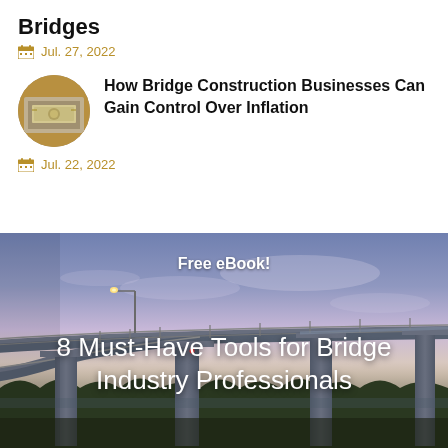Bridges
Jul. 27, 2022
How Bridge Construction Businesses Can Gain Control Over Inflation
Jul. 22, 2022
[Figure (photo): Promotional banner with bridge photo at sunset/dusk showing an elevated bridge structure with street lamps, purple and blue sky. Text overlay reads 'Free eBook!' and '8 Must-Have Tools for Bridge Industry Professionals']